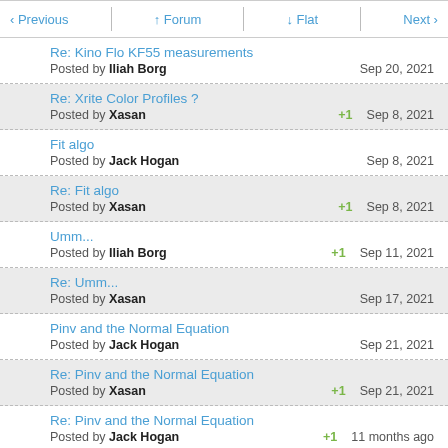< Previous   ^ Forum   v Flat   Next >
Re: Kino Flo KF55 measurements
Posted by Iliah Borg
Sep 20, 2021
Re: Xrite Color Profiles ?
Posted by Xasan +1
Sep 8, 2021
Fit algo
Posted by Jack Hogan
Sep 8, 2021
Re: Fit algo
Posted by Xasan +1
Sep 8, 2021
Umm...
Posted by Iliah Borg +1
Sep 11, 2021
Re: Umm...
Posted by Xasan
Sep 17, 2021
Pinv and the Normal Equation
Posted by Jack Hogan
Sep 21, 2021
Re: Pinv and the Normal Equation
Posted by Xasan +1
Sep 21, 2021
Re: Pinv and the Normal Equation
Posted by Jack Hogan +1
11 months ago